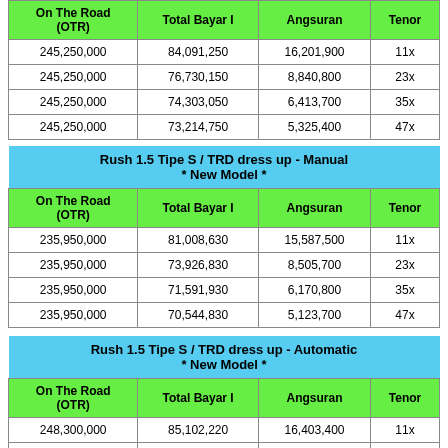| On The Road (OTR) | Total Bayar I | Angsuran | Tenor |
| --- | --- | --- | --- |
| 245,250,000 | 84,091,250 | 16,201,900 | 11x |
| 245,250,000 | 76,730,150 | 8,840,800 | 23x |
| 245,250,000 | 74,303,050 | 6,413,700 | 35x |
| 245,250,000 | 73,214,750 | 5,325,400 | 47x |
| On The Road (OTR) | Total Bayar I | Angsuran | Tenor |
| --- | --- | --- | --- |
| 235,950,000 | 81,008,630 | 15,587,500 | 11x |
| 235,950,000 | 73,926,830 | 8,505,700 | 23x |
| 235,950,000 | 71,591,930 | 6,170,800 | 35x |
| 235,950,000 | 70,544,830 | 5,123,700 | 47x |
| On The Road (OTR) | Total Bayar I | Angsuran | Tenor |
| --- | --- | --- | --- |
| 248,300,000 | 85,102,220 | 16,403,400 | 11x |
| 248,300,000 | 77,649,520 | 8,950,700 | 23x |
| 248,300,000 | 75,192,220 | 6,493,400 | 35x |
| 248,300,000 | 74,090,320 | 5,391,500 | 47x |